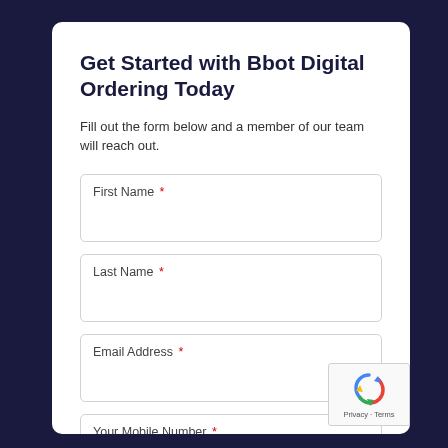Get Started with Bbot Digital Ordering Today
Fill out the form below and a member of our team will reach out.
First Name *
Last Name *
Email Address *
Your Mobile Number *